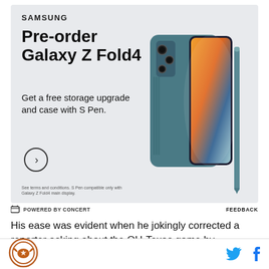[Figure (advertisement): Samsung Galaxy Z Fold4 pre-order advertisement. Shows Samsung logo at top, headline 'Pre-order Galaxy Z Fold4', subtext 'Get a free storage upgrade and case with S Pen.', a circular arrow CTA button, fine print about terms and conditions, and a product image of teal/green Samsung Galaxy Z Fold4 with S Pen on right side.]
⚡ POWERED BY CONCERT    FEEDBACK
His ease was evident when he jokingly corrected a reporter asking about the OU-Texas game by
[Figure (logo): Burnt Ends (SB Nation OU site) circular logo with longhorn/target design in brown/orange on white background]
[Figure (logo): Twitter bird icon in blue and Facebook f icon in blue, social sharing buttons]